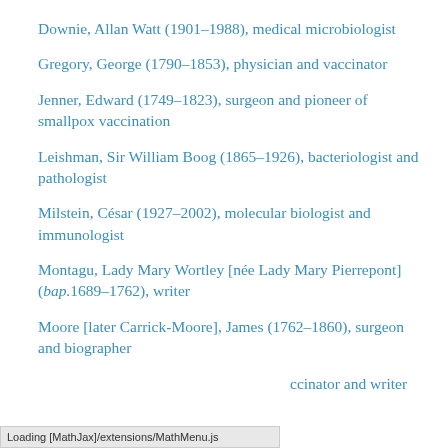Downie, Allan Watt (1901–1988), medical microbiologist
Gregory, George (1790–1853), physician and vaccinator
Jenner, Edward (1749–1823), surgeon and pioneer of smallpox vaccination
Leishman, Sir William Boog (1865–1926), bacteriologist and pathologist
Milstein, César (1927–2002), molecular biologist and immunologist
Montagu, Lady Mary Wortley [née Lady Mary Pierrepont] (bap.1689–1762), writer
Moore [later Carrick-Moore], James (1762–1860), surgeon and biographer
[partially obscured] ccinator and writer
Loading [MathJax]/extensions/MathMenu.js